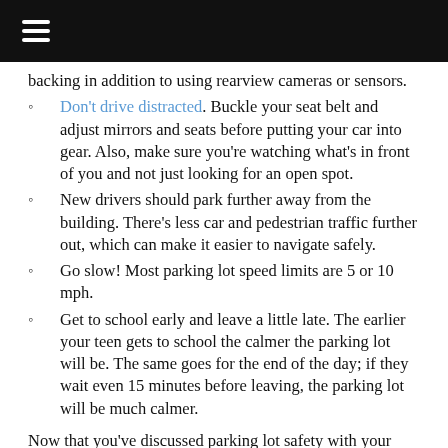[navigation bar]
backing in addition to using rearview cameras or sensors.
Don't drive distracted. Buckle your seat belt and adjust mirrors and seats before putting your car into gear. Also, make sure you're watching what's in front of you and not just looking for an open spot.
New drivers should park further away from the building. There's less car and pedestrian traffic further out, which can make it easier to navigate safely.
Go slow! Most parking lot speed limits are 5 or 10 mph.
Get to school early and leave a little late. The earlier your teen gets to school the calmer the parking lot will be. The same goes for the end of the day; if they wait even 15 minutes before leaving, the parking lot will be much calmer.
Now that you've discussed parking lot safety with your teen, the next question you might ask is if they should get a job or if they're ready for more responsibility. The answer is always dependent on your teenager, but we're here to help you on the journey!